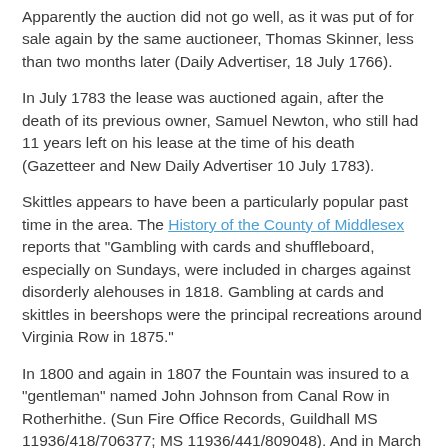Apparently the auction did not go well, as it was put of for sale again by the same auctioneer, Thomas Skinner, less than two months later (Daily Advertiser, 18 July 1766).
In July 1783 the lease was auctioned again, after the death of its previous owner, Samuel Newton, who still had 11 years left on his lease at the time of his death (Gazetteer and New Daily Advertiser 10 July 1783).
Skittles appears to have been a particularly popular past time in the area. The History of the County of Middlesex reports that "Gambling with cards and shuffleboard, especially on Sundays, were included in charges against disorderly alehouses in 1818. Gambling at cards and skittles in beershops were the principal recreations around Virginia Row in 1875."
In 1800 and again in 1807 the Fountain was insured to a "gentleman" named John Johnson from Canal Row in Rotherhithe. (Sun Fire Office Records, Guildhall MS 11936/418/706377; MS 11936/441/809048). And in March 1811 it was insured to a large brewing company Messers